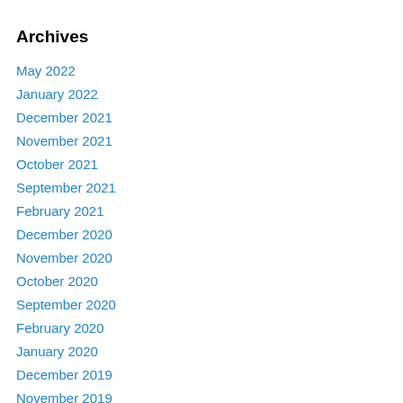Archives
May 2022
January 2022
December 2021
November 2021
October 2021
September 2021
February 2021
December 2020
November 2020
October 2020
September 2020
February 2020
January 2020
December 2019
November 2019
October 2019
September 2019